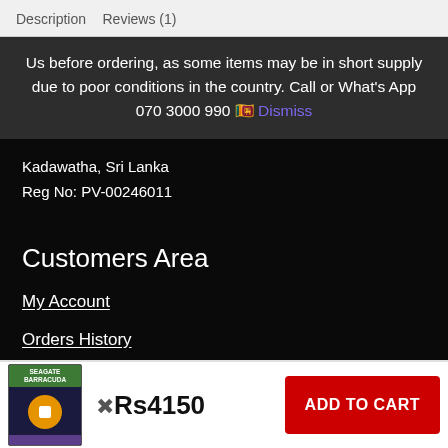Description   Reviews (1)
Us before ordering, as some items may be in short supply due to poor conditions in the country. Call or What's App 070 3000 990 🇱🇰 Dismiss
Kadawatha, Sri Lanka
Reg No: PV-00246011
Customers Area
My Account
Orders History
View Cart
Wish List
Track your Order
Rs4150  ADD TO CART